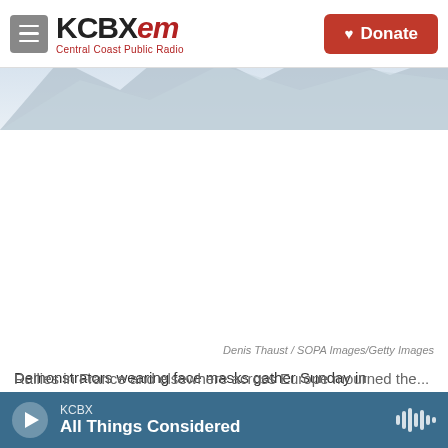KCBX FM — Central Coast Public Radio | Donate
[Figure (photo): Demonstrators wearing face masks gathered in Marseille, France, with mountains in background (image partially obscured/white)]
Denis Thaust / SOPA Images/Getty Images
Demonstrators wearing face masks gather Sunday in Marseille, France, to pay tribute to teacher Samuel Paty, who was beheaded after he showed his class cartoons depicting the Prophet Muhammad.
KCBX — All Things Considered